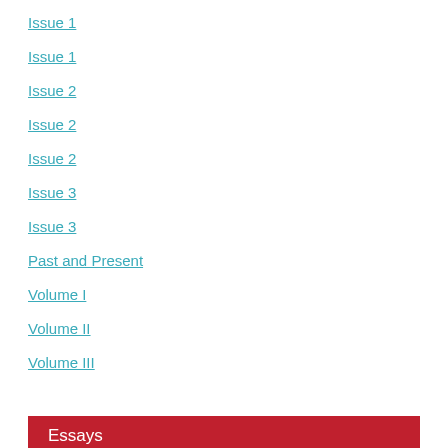Issue 1
Issue 1
Issue 2
Issue 2
Issue 2
Issue 3
Issue 3
Past and Present
Volume I
Volume II
Volume III
Essays
Historical Journeys